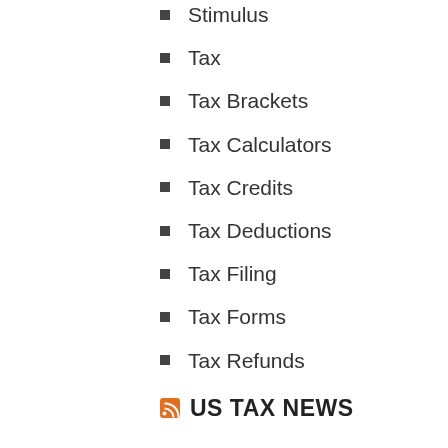Stimulus
Tax
Tax Brackets
Tax Calculators
Tax Credits
Tax Deductions
Tax Filing
Tax Forms
Tax Refunds
US TAX NEWS
ARCHIVES
August 2022
July 2022
April 2022
February 2022